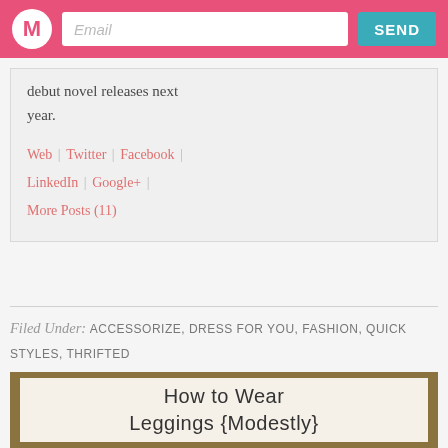Email | SEND
debut novel releases next year.
Web | Twitter | Facebook | LinkedIn | Google+ | More Posts (11)
Filed Under: ACCESSORIZE, DRESS FOR YOU, FASHION, QUICK STYLES, THRIFTED
[Figure (illustration): How to Wear Leggings {Modestly} title card with olive/tan border and cream background]